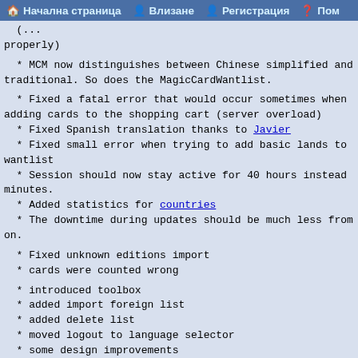🏠 Начална страница 👤 Влизане 👤 Регистрация ❓ Пом
(... properly)
* MCM now distinguishes between Chinese simplified and traditional. So does the MagicCardWantlist.
* Fixed a fatal error that would occur sometimes when adding cards to the shopping cart (server overload)
* Fixed Spanish translation thanks to Javier
* Fixed small error when trying to add basic lands to wantlist
* Session should now stay active for 40 hours instead minutes.
* Added statistics for countries
* The downtime during updates should be much less from on.
* Fixed unknown editions import
* cards were counted wrong
* introduced toolbox
* added import foreign list
* added delete list
* moved logout to language selector
* some design improvements
* removed social media bar from wantlists (may add it for checklists/decklists)
* fixed subtypes in proxy view